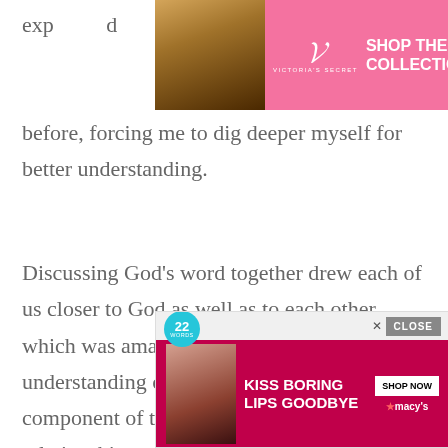[Figure (other): Victoria's Secret advertisement banner with model photo, VS logo, 'SHOP THE COLLECTION' text, and 'SHOP NOW' button on pink background]
exp...d before, forcing me to dig deeper myself for better understanding.
Discussing God’s word together drew each of us closer to God as well as to each other, which was amazing. It facilitated the understanding of one fundamental component of the Christian faith. And that is relationship.
[Figure (other): Advertisement with '22 WORDS' badge, CLOSE button, model photo, 'KISS BORING LIPS GOODBYE' text, 'SHOP NOW' button, and Macy's star logo on red background]